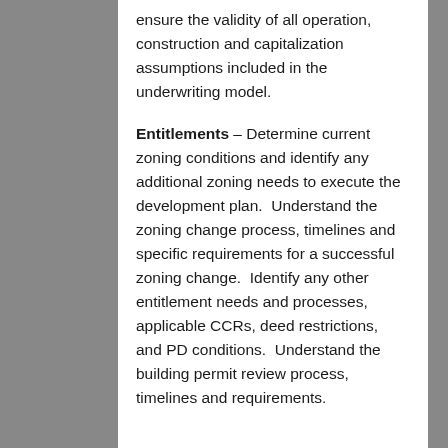ensure the validity of all operation, construction and capitalization assumptions included in the underwriting model.
Entitlements – Determine current zoning conditions and identify any additional zoning needs to execute the development plan.  Understand the zoning change process, timelines and specific requirements for a successful zoning change.  Identify any other entitlement needs and processes, applicable CCRs, deed restrictions, and PD conditions.  Understand the building permit review process, timelines and requirements.